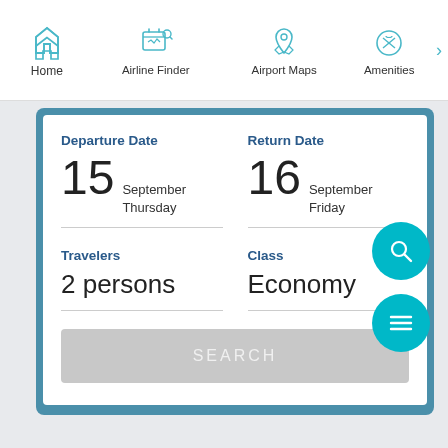[Figure (screenshot): Mobile app navigation bar with icons for Home, Airline Finder, Airport Maps, Amenities]
Departure Date
15 September Thursday
Return Date
16 September Friday
Travelers
2 persons
Class
Economy
SEARCH